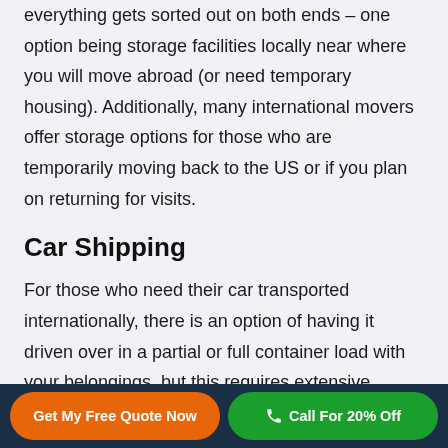everything gets sorted out on both ends – one option being storage facilities locally near where you will move abroad (or need temporary housing). Additionally, many international movers offer storage options for those who are temporarily moving back to the US or if you plan on returning for visits.
Car Shipping
For those who need their car transported internationally, there is an option of having it driven over in a partial or full container load with your belongings, but this requires extensive
Get My Free Quote Now   Call For 20% Off